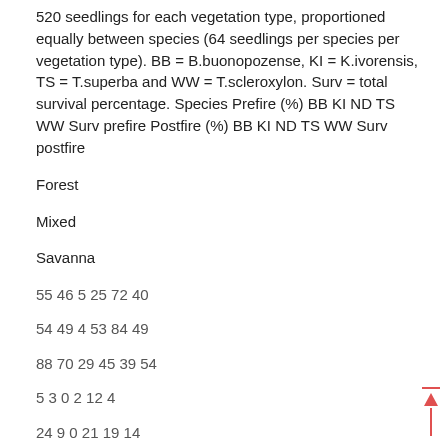520 seedlings for each vegetation type, proportioned equally between species (64 seedlings per species per vegetation type). BB = B.buonopozense, KI = K.ivorensis, TS = T.superba and WW = T.scleroxylon. Surv = total survival percentage. Species Prefire (%) BB KI ND TS WW Surv prefire Postfire (%) BB KI ND TS WW Surv postfire
Forest
Mixed
Savanna
55 46 5 25 72 40
54 49 4 53 84 49
88 70 29 45 39 54
5 3 0 2 12 4
24 9 0 21 19 14